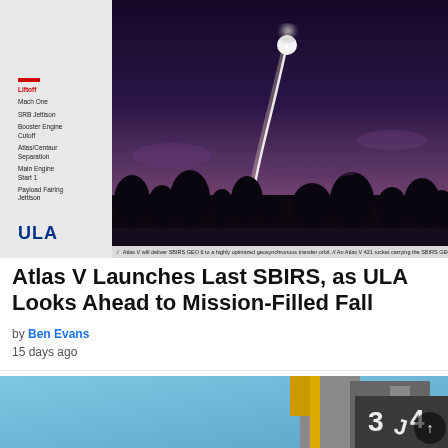[Figure (photo): ULA website screenshot showing Atlas V rocket launch at dusk/night with bright exhaust plume curving upward, with sidebar navigation showing launch milestones and ULA logo on grey left panel]
Atlas V will deliver SBIRS GEO 6 to a highly optimized geosynchronous transfer orbit. // An Atlas V 421 rocket carrying the SBIRS GEO 6 ...
Atlas V Launches Last SBIRS, as ULA Looks Ahead to Mission-Filled Fall
by Ben Evans
15 days ago
[Figure (photo): Partial view of rocket hardware on launch pad with blue sky background, industrial equipment visible]